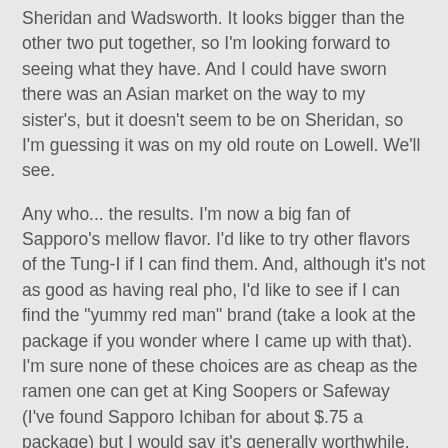Sheridan and Wadsworth. It looks bigger than the other two put together, so I'm looking forward to seeing what they have. And I could have sworn there was an Asian market on the way to my sister's, but it doesn't seem to be on Sheridan, so I'm guessing it was on my old route on Lowell. We'll see.
Any who... the results. I'm now a big fan of Sapporo's mellow flavor. I'd like to try other flavors of the Tung-I if I can find them. And, although it's not as good as having real pho, I'd like to see if I can find the "yummy red man" brand (take a look at the package if you wonder where I came up with that). I'm sure none of these choices are as cheap as the ramen one can get at King Soopers or Safeway (I've found Sapporo Ichiban for about $.75 a package) but I would say it's generally worthwhile. Sapporo is less salty than those more convenient brands. I will still get Maruchan's Creamy Chicken flavor, since it's one of my favorites and I've seen no other brand with that flavor. However, since I plan to visit an Asian market more often in the future, I think I can manage to keep stocked up with Sapporo.
Thank you again, John. This was fun. :D